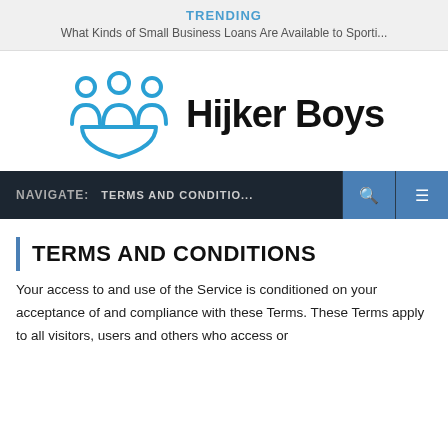TRENDING
What Kinds of Small Business Loans Are Available to Sporti...
[Figure (logo): Hijker Boys logo: three stylized human figures in blue with a shield shape, followed by bold text 'Hijker Boys']
NAVIGATE:   TERMS AND CONDITIO...
TERMS AND CONDITIONS
Your access to and use of the Service is conditioned on your acceptance of and compliance with these Terms. These Terms apply to all visitors, users and others who access or